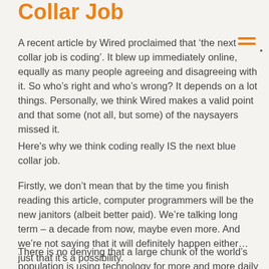Collar Job
A recent article by Wired proclaimed that ‘the next collar job is coding’. It blew up immediately online, equally as many people agreeing and disagreeing with it. So who’s right and who’s wrong? It depends on a lot things. Personally, we think Wired makes a valid point and that some (not all, but some) of the naysayers missed it.
Here's why we think coding really IS the next blue collar job.
Firstly, we don’t mean that by the time you finish reading this article, computer programmers will be the new janitors (albeit better paid). We’re talking long term – a decade from now, maybe even more. And we’re not saying that it will definitely happen either… just that it’s a possibility.
There is no denying that a large chunk of the world’s population is using technology for more and more daily tasks. Think about it; you wake up to the sound of your